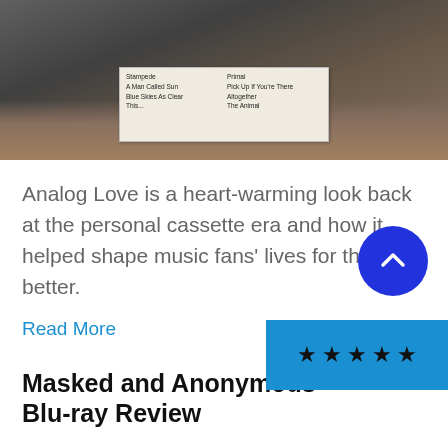[Figure (photo): Hands holding a cassette tape with a handwritten track listing label. Left column shows: Stampede, A Man Called Sun, Blue Skies As Clear, This... Right column shows: Primal, Pick Up If You're There, Altogether, The Animal.]
Analog Love is a heart-warming look back at the personal cassette era and how it helped shape music fans' lives for the better.
Read More
Masked and Anonymous Blu-ray Review